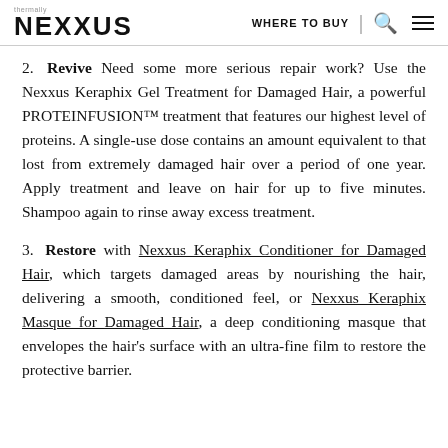NEXXUS | WHERE TO BUY
2. Revive Need some more serious repair work? Use the Nexxus Keraphix Gel Treatment for Damaged Hair, a powerful PROTEINFUSION™ treatment that features our highest level of proteins. A single-use dose contains an amount equivalent to that lost from extremely damaged hair over a period of one year. Apply treatment and leave on hair for up to five minutes. Shampoo again to rinse away excess treatment.
3. Restore with Nexxus Keraphix Conditioner for Damaged Hair, which targets damaged areas by nourishing the hair, delivering a smooth, conditioned feel, or Nexxus Keraphix Masque for Damaged Hair, a deep conditioning masque that envelopes the hair's surface with an ultra-fine film to restore the protective barrier.